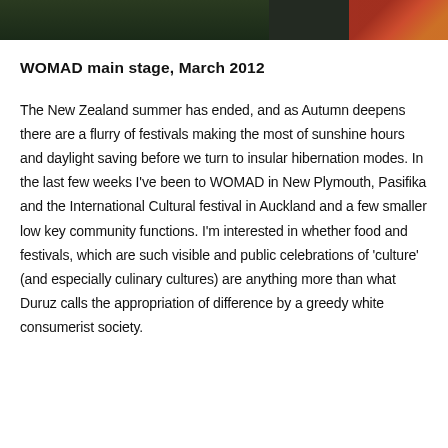[Figure (photo): Top portion of a photo showing a dark outdoor scene, possibly a festival stage at night with foliage and a red/orange element on the right side]
WOMAD main stage, March 2012
The New Zealand summer has ended, and as Autumn deepens there are a flurry of festivals making the most of sunshine hours and daylight saving before we turn to insular hibernation modes. In the last few weeks I've been to WOMAD in New Plymouth, Pasifika and the International Cultural festival in Auckland and a few smaller low key community functions. I'm interested in whether food and festivals, which are such visible and public celebrations of 'culture' (and especially culinary cultures) are anything more than what Duruz calls the appropriation of difference by a greedy white consumerist society.